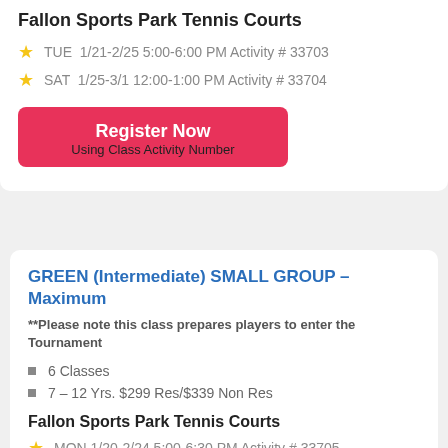Fallon Sports Park Tennis Courts
TUE  1/21-2/25 5:00-6:00 PM Activity # 33703
SAT  1/25-3/1 12:00-1:00 PM Activity # 33704
[Figure (other): Register Now button - red button with text 'Register Now' and subtitle 'Using Class Activity Number']
GREEN (Intermediate) SMALL GROUP – Maximum
**Please note this class prepares players to enter the Tournament
6 Classes
7 – 12 Yrs. $299 Res/$339 Non Res
Fallon Sports Park Tennis Courts
MON 1/20-2/24 5:00-6:30 PM Activity # 33705
THURS 1/23-2/27 5:00-6:30 PM Activity # 33706